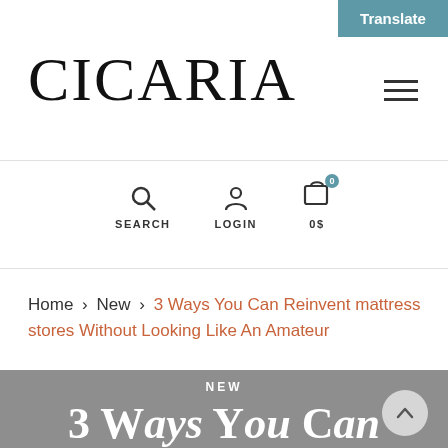Translate
CICARIA
[Figure (infographic): Navigation icons: search (magnifying glass), login (person silhouette), cart with 0 badge. Labels: SEARCH, LOGIN, 0$]
Home > New > 3 Ways You Can Reinvent mattress stores Without Looking Like An Amateur
NEW
3 Ways You Can